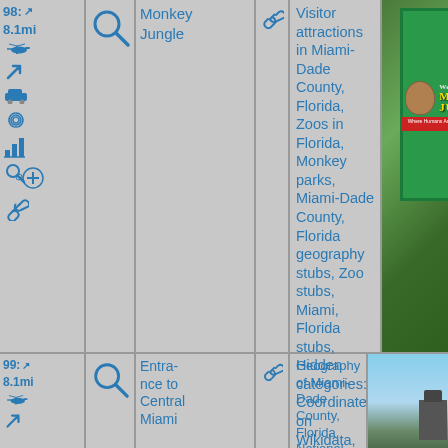| #/dist | search | Name | link | Categories | Image |
| --- | --- | --- | --- | --- | --- |
| 98: ↗ 8.1mi [helicopter][car][spiral][chart][search][link] | 🔍 | Monkey Jungle | 🔗 | Visitor attractions in Miami-Dade County, Florida, Zoos in Florida, Monkey parks, Miami-Dade County, Florida geography stubs, Zoo stubs, Miami, Florida stubs, Hidden categories:, Coordinates on Wikidata, Commons category template with no category set, Commons category with page title same as on Wikidata, All stub articles, | [photo of Monkey Jungle sign] |
| 99: ↗ 8.1mi [helicopter] | 🔍 | Entrance to Central Miami | 🔗 | Geography of Miami-Dade County, Florida, National Register | [photo of tower] |